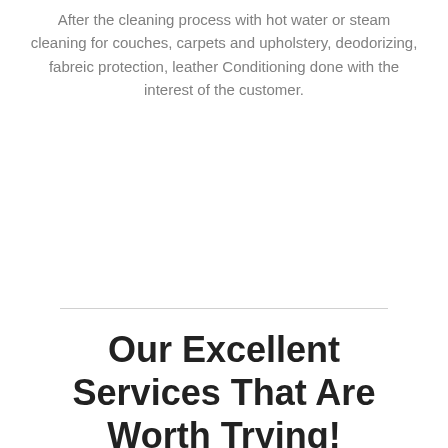After the cleaning process with hot water or steam cleaning for couches, carpets and upholstery, deodorizing, fabreic protection, leather Conditioning done with the interest of the customer.
Our Excellent Services That Are Worth Trying!